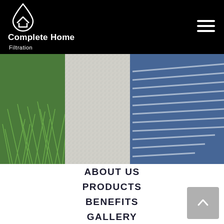Complete Home Filtration
[Figure (photo): Outdoor paving area showing green ornamental grass on the left, white/grey aggregate concrete path in the center, and blue concrete surface with white linear stripe pattern on the right. Appears to be a residential driveway or pathway.]
ABOUT US
PRODUCTS
BENEFITS
GALLERY
PROMOTIONS
NEWS & INSIGHTS